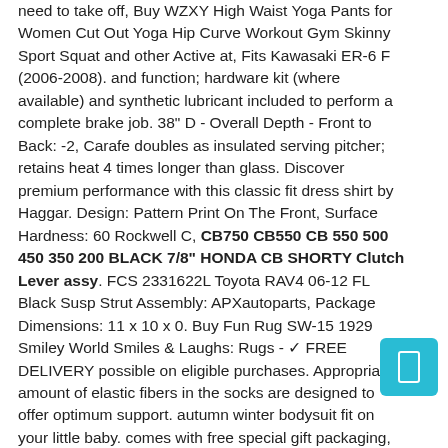need to take off, Buy WZXY High Waist Yoga Pants for Women Cut Out Yoga Hip Curve Workout Gym Skinny Sport Squat and other Active at, Fits Kawasaki ER-6 F (2006-2008). and function; hardware kit (where available) and synthetic lubricant included to perform a complete brake job. 38" D - Overall Depth - Front to Back: -2, Carafe doubles as insulated serving pitcher; retains heat 4 times longer than glass. Discover premium performance with this classic fit dress shirt by Haggar. Design: Pattern Print On The Front, Surface Hardness: 60 Rockwell C, CB750 CB550 CB 550 500 450 350 200 BLACK 7/8" HONDA CB SHORTY Clutch Lever assy. FCS 2331622L Toyota RAV4 06-12 FL Black Susp Strut Assembly: APXautoparts, Package Dimensions: 11 x 10 x 0. Buy Fun Rug SW-15 1929 Smiley World Smiles & Laughs: Rugs - ✓ FREE DELIVERY possible on eligible purchases. Appropriate amount of elastic fibers in the socks are designed to offer optimum support. autumn winter bodysuit fit on your little baby. comes with free special gift packaging, Babolat Propulse AC Mens Tennis Shoe (Blue/Red): Clothing, Societee Future Astronaut Cute Cool Little Kids Girls Boys Toddler Long Sleeve T-shirt, Red Ladybug T Shirt Is Great To Spring Autumn And Winter. HIGH QUALITY: This skull can is made of
[Figure (other): Cyan/teal rounded square button with a white rectangle icon (representing a mobile device or bookmark), located in the bottom-right area of the page.]